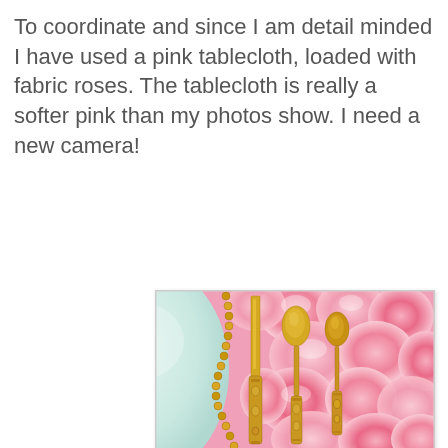To coordinate and since I am detail minded I have used a pink tablecloth, loaded with fabric roses.  The tablecloth is really a softer pink than my photos show.  I need a new camera!
[Figure (photo): Close-up photo of gold/silver ornate flatware (knife and two spoons) laid on a pink fabric tablecloth covered in fabric roses, with a light green/teal plate trimmed with gold beaded border on the left side.]